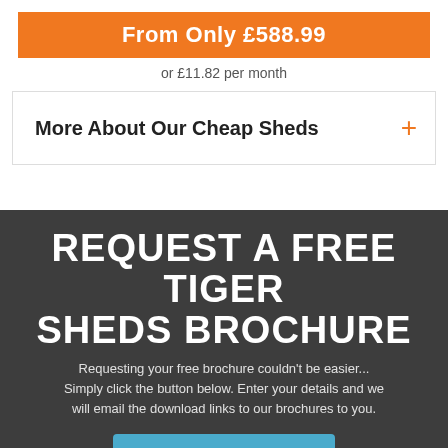From Only £588.99
or £11.82 per month
More About Our Cheap Sheds +
REQUEST A FREE TIGER SHEDS BROCHURE
Requesting your free brochure couldn't be easier... Simply click the button below. Enter your details and we will email the download links to our brochures to you.
Request Brochure